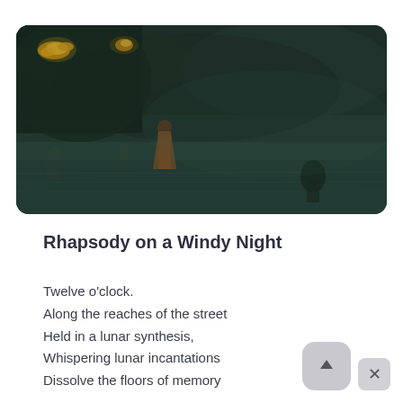[Figure (illustration): A dark nocturnal painting showing a nighttime river or waterfront scene. The upper portion is dominated by dark teal and grey tones suggesting a cloudy night sky and dark water. In the upper left, clusters of warm golden-yellow lights glow amid dark foliage or structures. In the foreground, a small standing figure in brownish tones is visible on the left-center, and another darker figure appears at the lower right. The painting has an impressionistic, atmospheric quality reminiscent of Whistler's nocturnes.]
Rhapsody on a Windy Night
Twelve o'clock.
Along the reaches of the street
Held in a lunar synthesis,
Whispering lunar incantations
Dissolve the floors of memory